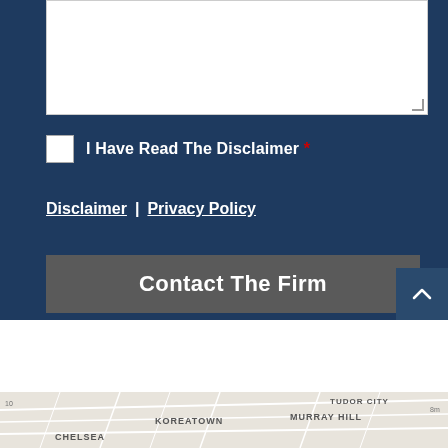[Figure (screenshot): White textarea/text input box with resize handle at bottom right]
I Have Read The Disclaimer *
Disclaimer | Privacy Policy
Contact The Firm
[Figure (map): Street map showing neighborhoods including Koreatown, Murray Hill, Chelsea, Tudor City]